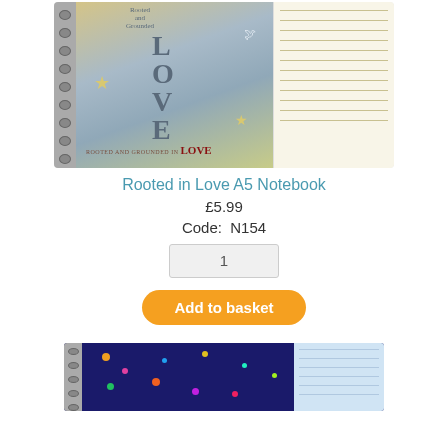[Figure (photo): A5 spiral-bound notebook with decorative 'Rooted and Grounded in Love' cover featuring stars, a bird, and blue/gold art, shown open with lined pages visible]
Rooted in Love A5 Notebook
£5.99
Code:  N154
1
Add to basket
[Figure (photo): Spiral-bound notebook with dark navy cover decorated with colorful confetti, flowers, and music notes, shown partially open with light blue lined pages]